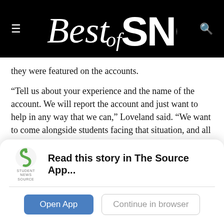[Figure (logo): Best of SNO logo header with hamburger menu icon on left and search icon on right, white text on black background]
they were featured on the accounts.
“Tell us about your experience and the name of the account. We will report the account and just want to help in any way that we can,” Loveland said. “We want to come alongside students facing that situation, and all situations, in any way that we can.”
This story was originally published on The Booster Redux on January 12, 2021
[Figure (screenshot): App install banner: Student News Source logo with text 'Read this story in The Source App...' and two buttons: 'Open App' and 'Continue in browser']